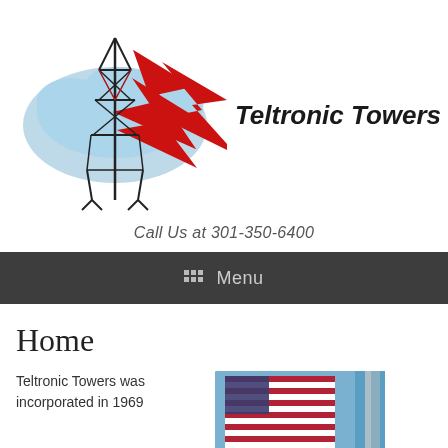[Figure (logo): Teltronic Towers logo: blue USA map silhouette with a red lightning bolt and a black steel transmission tower in the foreground, beside bold italic text 'Teltronic Towers']
Call Us at 301-350-6400
Menu
Home
Teltronic Towers was incorporated in 1969
[Figure (photo): Photo of an American flag against a blue sky, with a white pole or structure visible]